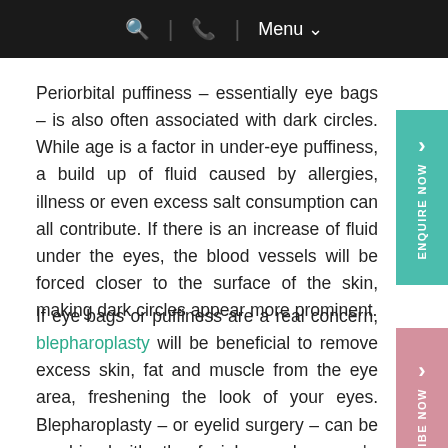🔍 | 📞 | Menu ∨
Periorbital puffiness – essentially eye bags – is also often associated with dark circles. While age is a factor in under-eye puffiness, a build up of fluid caused by allergies, illness or even excess salt consumption can all contribute. If there is an increase of fluid under the eyes, the blood vessels will be forced closer to the surface of the skin, making dark circles appear more prominent.
If eye bags or puffiness are a real concern, blepharoplasty will be beneficial to remove excess skin, fat and muscle from the eye area, freshening the look of your eyes. Blepharoplasty – or eyelid surgery – can be combined with other facial procedures such…